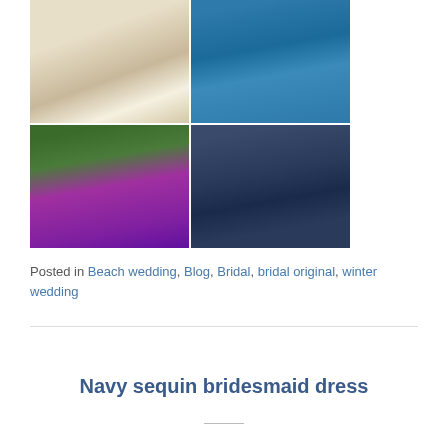[Figure (photo): 2x2 grid of four photos: top-left shows a bride in white dress on a beach; top-right shows a woman in a teal/blue dress from behind; bottom-left shows a woman in a purple/magenta one-shoulder dress on grass with trees and another figure in background; bottom-right shows a woman in a navy sequin skirt from the back.]
Posted in Beach wedding, Blog, Bridal, bridal original, winter wedding
Navy sequin bridesmaid dress